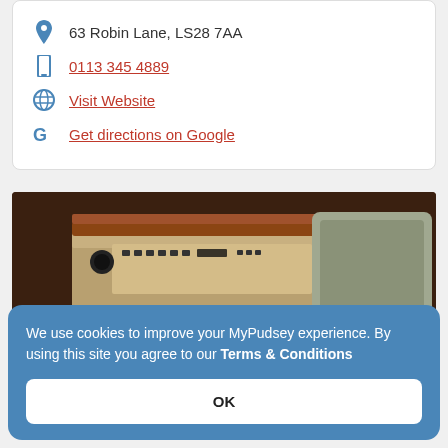63 Robin Lane, LS28 7AA
0113 345 4889
Visit Website
Get directions on Google
[Figure (photo): Close-up photograph of a vintage espresso machine showing dials, knobs, buttons, copper pipes, and a silver steam wand on a dark background.]
We use cookies to improve your MyPudsey experience. By using this site you agree to our Terms & Conditions
OK